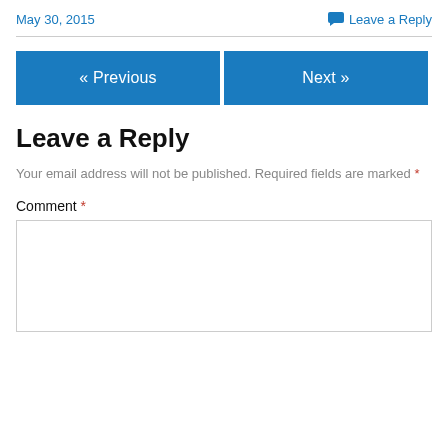May 30, 2015
Leave a Reply
« Previous
Next »
Leave a Reply
Your email address will not be published. Required fields are marked *
Comment *